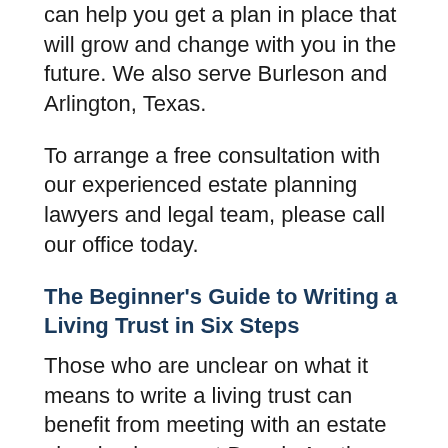can help you get a plan in place that will grow and change with you in the future. We also serve Burleson and Arlington, Texas.
To arrange a free consultation with our experienced estate planning lawyers and legal team, please call our office today.
The Beginner's Guide to Writing a Living Trust in Six Steps
Those who are unclear on what it means to write a living trust can benefit from meeting with an estate planning lawyer at Brandy Austin Law Firm, PLLC for guidance. What may seem like an intimidating document to complete, can become less daunting when it is worked on a